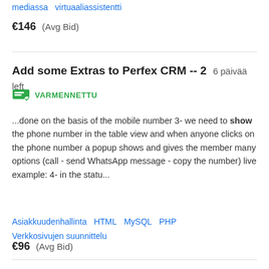mediassa   virtuaaliassistentti
€146  (Avg Bid)
Add some Extras to Perfex CRM -- 2   6 päivää left
VARMENNETTU
...done on the basis of the mobile number 3- we need to show the phone number in the table view and when anyone clicks on the phone number a popup shows and gives the member many options (call - send WhatsApp message - copy the number) live example: 4- in the statu...
Asiakkuudenhallinta   HTML   MySQL   PHP   Verkkosivujen suunnittelu
€96  (Avg Bid)
Hiring Python, DJANGO Asap: WORK ON UTC TIME , available in Weekend.   6 päivää left